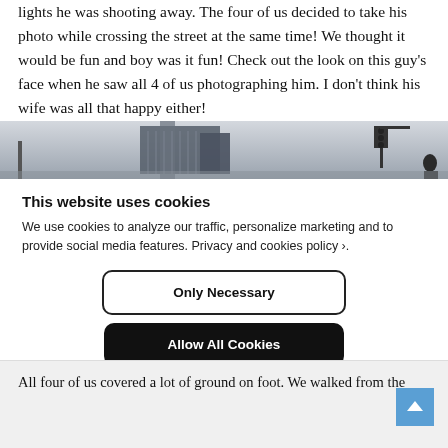lights he was shooting away. The four of us decided to take his photo while crossing the street at the same time! We thought it would be fun and boy was it fun! Check out the look on this guy’s face when he saw all 4 of us photographing him. I don’t think his wife was all that happy either!
[Figure (photo): A street scene photo strip showing an urban intersection with buildings and traffic lights visible against a grey sky, with silhouettes of people.]
This website uses cookies
We use cookies to analyze our traffic, personalize marketing and to provide social media features. Privacy and cookies policy ›.
Only Necessary
Allow All Cookies
Configure Settings ›
All four of us covered a lot of ground on foot. We walked from the